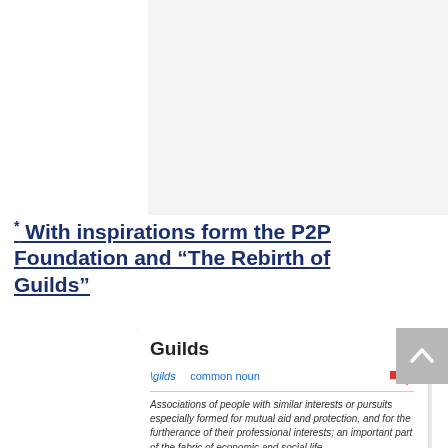[Figure (screenshot): Screenshot or image placeholder in the upper right area of the page, light gray background]
* With inspirations form the P2P Foundation and "The Rebirth of Guilds"
[Figure (screenshot): Dictionary card showing definition of 'Guilds': common noun, phonetic \gilds. Definition: Associations of people with similar interests or pursuits especially formed for mutual aid and protection, and for the furtherance of their professional interests; an important part of the fabric of economic and social life. First known use: 13th century Europe around the sametime as universities develop; roots as well in 3rd century BC Roman Empire's collegium/corpus]